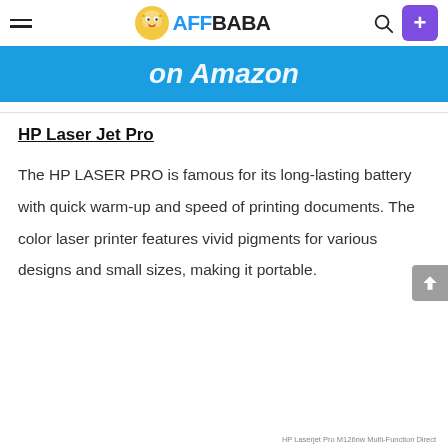AFFBABA
on Amazon
HP Laser Jet Pro
The HP LASER PRO is famous for its long-lasting battery with quick warm-up and speed of printing documents. The color laser printer features vivid pigments for various designs and small sizes, making it portable.
HP Laserjet Pro M126nw Multi-Function Direct